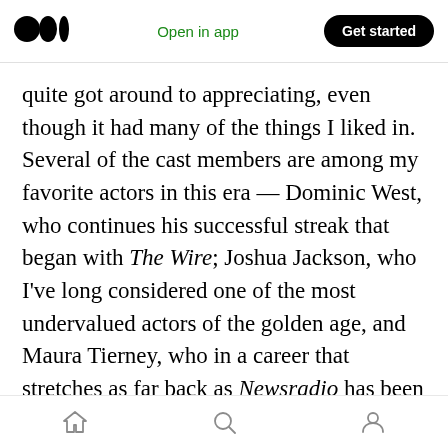Medium logo | Open in app | Get started
quite got around to appreciating, even though it had many of the things I liked in. Several of the cast members are among my favorite actors in this era — Dominic West, who continues his successful streak that began with The Wire; Joshua Jackson, who I've long considered one of the most undervalued actors of the golden age, and Maura Tierney, who in a career that stretches as far back as Newsradio has been one of the most talented actresses in either comedy or drama, and who arguably had her best role here. Ruth Wilson has always been graceful to
Home | Search | Profile